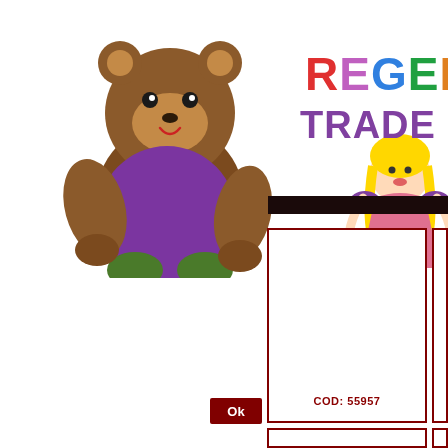[Figure (logo): Regent Trade Company logo with teddy bear, princess doll, and colorful text reading REGENT TRADE CON (truncated)]
[Figure (other): Dark brown/black horizontal bar spanning right side of page]
[Figure (other): Large product image box with dark red border, containing text COD: 55957 in dark red at bottom center]
[Figure (other): Smaller product image box with dark red border, partially visible on right edge]
[Figure (other): Ok button in dark red/maroon color]
[Figure (other): Lower row of image boxes with dark red borders, partially visible at bottom]